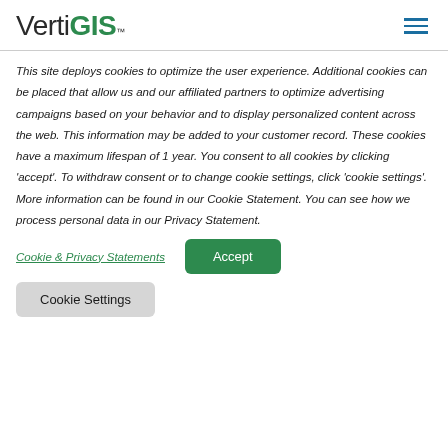VertiGIS™
This site deploys cookies to optimize the user experience. Additional cookies can be placed that allow us and our affiliated partners to optimize advertising campaigns based on your behavior and to display personalized content across the web. This information may be added to your customer record. These cookies have a maximum lifespan of 1 year. You consent to all cookies by clicking 'accept'. To withdraw consent or to change cookie settings, click 'cookie settings'. More information can be found in our Cookie Statement. You can see how we process personal data in our Privacy Statement.
Cookie & Privacy Statements
Accept
Cookie Settings